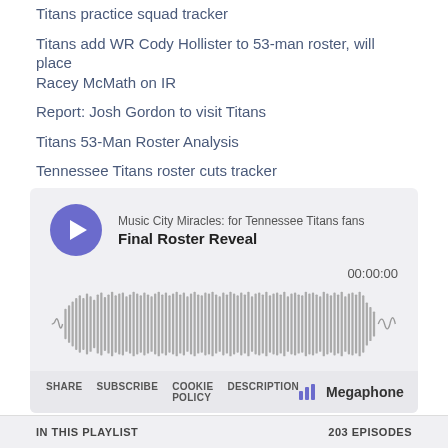Titans practice squad tracker
Titans add WR Cody Hollister to 53-man roster, will place Racey McMath on IR
Report: Josh Gordon to visit Titans
Titans 53-Man Roster Analysis
Tennessee Titans roster cuts tracker
Poll: Did the Titans improve their offense?
[Figure (other): Podcast player widget for 'Music City Miracles: for Tennessee Titans fans' episode 'Final Roster Reveal'. Shows play button, waveform audio visualization, time display 00:00:00, share/subscribe/cookie policy/description links, and Megaphone branding.]
IN THIS PLAYLIST   203 EPISODES